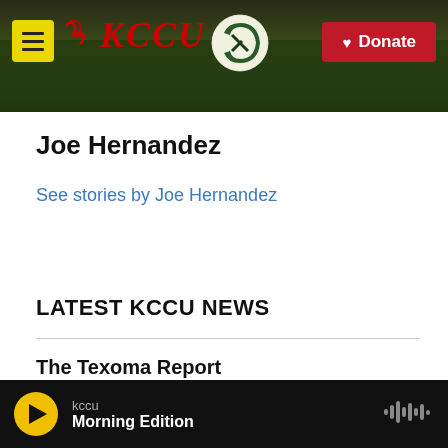KCCU | Donate
Joe Hernandez
See stories by Joe Hernandez
LATEST KCCU NEWS
The Texoma Report
kccu Morning Edition